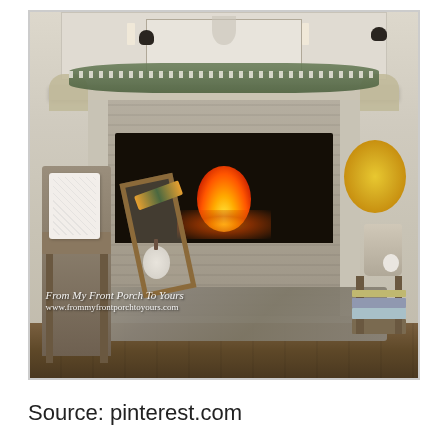[Figure (photo): Interior photo of a cozy living room featuring a stone fireplace with a lit fire, decorated mantel with greenery garland and burlap bows, a wooden chair with white pillow on the left, a leaning picture frame and white pumpkin in front of the fireplace, yellow fall flowers in a vase on the right, stacked books on a side table, and hardwood floors with a patterned rug. Watermark reads: 'From My Front Porch To Yours' and 'www.frommyfrontporchtoyours.com']
Source: pinterest.com